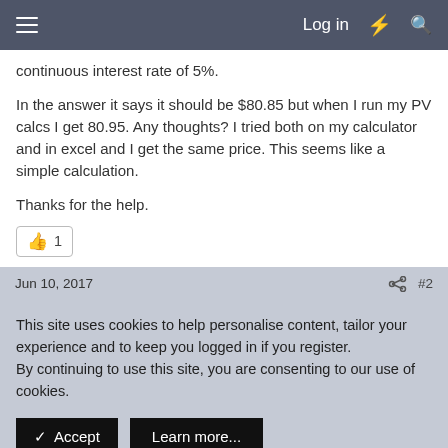Log in
continuous interest rate of 5%.
In the answer it says it should be $80.85 but when I run my PV calcs I get 80.95. Any thoughts? I tried both on my calculator and in excel and I get the same price. This seems like a simple calculation.
Thanks for the help.
👍 1
Jun 10, 2017  #2
This site uses cookies to help personalise content, tailor your experience and to keep you logged in if you register.
By continuing to use this site, you are consenting to our use of cookies.
✓ Accept   Learn more...